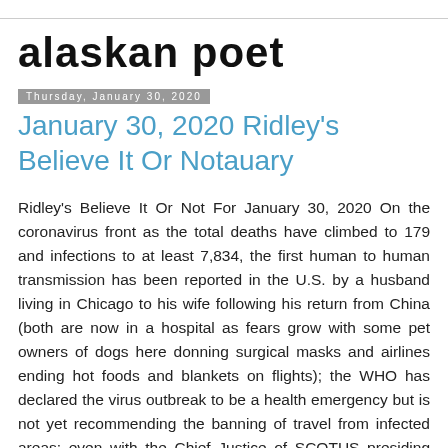alaskan poet
Thursday, January 30, 2020
January 30, 2020 Ridley's Believe It Or Notauary
Ridley's Believe It Or Not For January 30, 2020 On the coronavirus front as the total deaths have climbed to 179 and infections to at least 7,834, the first human to human transmission has been reported in the U.S. by a husband living in Chicago to his wife following his return from China (both are now in a hospital as fears grow with some pet owners of dogs here donning surgical masks and airlines ending hot foods and blankets on flights); the WHO has declared the virus outbreak to be a health emergency but is not yet recommending the banning of travel from infected areas; even with the Chief Justice of SCOTUS presiding over the Impeachment Proceedings, Blues seem to have completely